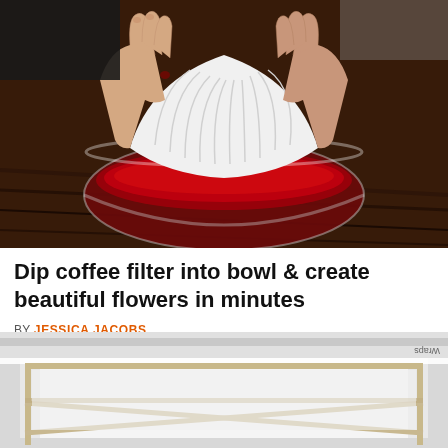[Figure (photo): Hands pressing a white coffee filter into a glass bowl filled with dark red liquid on a wooden table]
Dip coffee filter into bowl & create beautiful flowers in minutes
BY JESSICA JACOBS
[Figure (photo): A white rectangular tray or frame with a wooden grid structure visible inside, viewed from above at an angle]